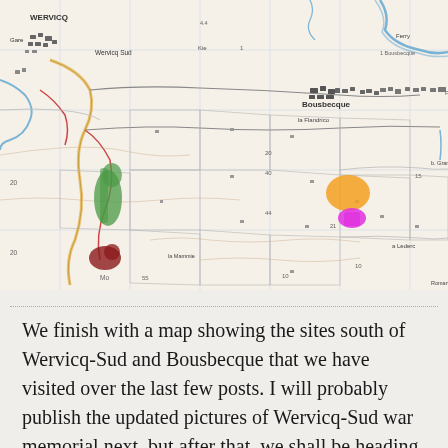[Figure (map): Topographic military map showing the area south of Wervicq-Sud and Bousbecque (northern France/Belgium border region). The map shows roads, fields, settlements and terrain features. Colored overlays mark visited sites: a green shape on the left-center, a dark red/maroon shape below the green, an orange shape on the right-center, and a pink/magenta shape just below the orange.]
We finish with a map showing the sites south of Wervicq-Sud and Bousbecque that we have visited over the last few posts. I will probably publish the updated pictures of Wervicq-Sud war memorial next, but after that, we shall be heading to pastures